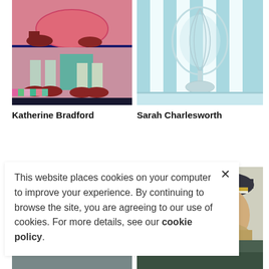[Figure (illustration): Painting showing figures' lower bodies with red shoes on pink/teal background, two horizontal panels]
[Figure (illustration): Painting of a glass goblet/vase against light blue and white vertical stripes background]
Katherine Bradford
Sarah Charlesworth
[Figure (photo): Partial photo of a person wearing a captain's hat/naval uniform]
This website places cookies on your computer to improve your experience. By continuing to browse the site, you are agreeing to our use of cookies. For more details, see our cookie policy.